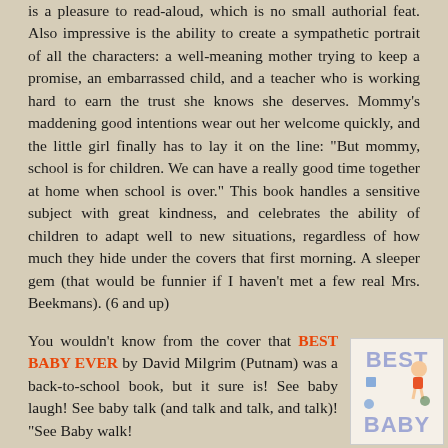is a pleasure to read-aloud, which is no small authorial feat. Also impressive is the ability to create a sympathetic portrait of all the characters: a well-meaning mother trying to keep a promise, an embarrassed child, and a teacher who is working hard to earn the trust she knows she deserves. Mommy's maddening good intentions wear out her welcome quickly, and the little girl finally has to lay it on the line: "But mommy, school is for children. We can have a really good time together at home when school is over." This book handles a sensitive subject with great kindness, and celebrates the ability of children to adapt well to new situations, regardless of how much they hide under the covers that first morning. A sleeper gem (that would be funnier if I haven't met a few real Mrs. Beekmans). (6 and up)
You wouldn't know from the cover that BEST BABY EVER by David Milgrim (Putnam) was a back-to-school book, but it sure is! See baby laugh! See baby talk (and talk and talk, and talk)! "See Baby walk!
[Figure (illustration): Book cover of BEST BABY EVER showing large lavender block letters spelling BEST BABY with a cartoon baby character in a red outfit]